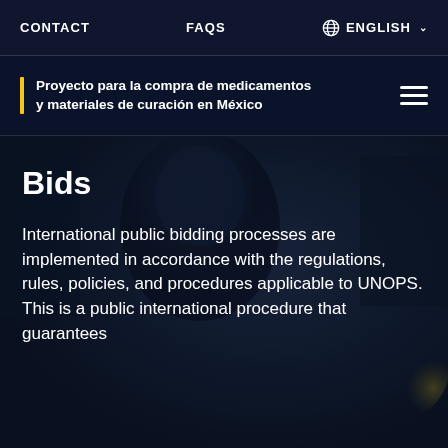CONTACT   FAQS   ENGLISH
Proyecto para la compra de medicamentos y materiales de curación en México
[Figure (photo): Dark background photo showing blurred figures in a medical or industrial setting with dark blue overlay]
Bids
International public bidding processes are implemented in accordance with the regulations, rules, policies, and procedures applicable to UNOPS. This is a public international procedure that guarantees